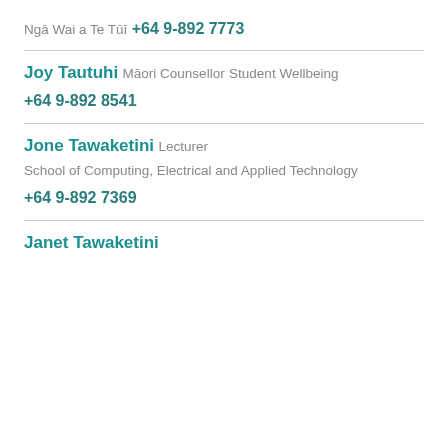Ngā Wai a Te Tūī
+64 9-892 7773
Joy Tautuhi
Māori Counsellor
Student Wellbeing
+64 9-892 8541
Jone Tawaketini
Lecturer
School of Computing, Electrical and Applied Technology
+64 9-892 7369
Janet Tawaketini